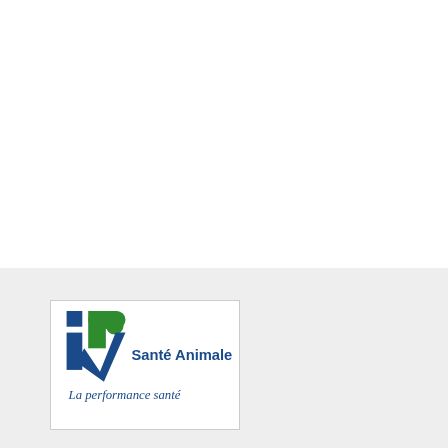[Figure (logo): IP Santé Animale logo with blue and green geometric 'IP' letters and italic tagline 'La performance santé']